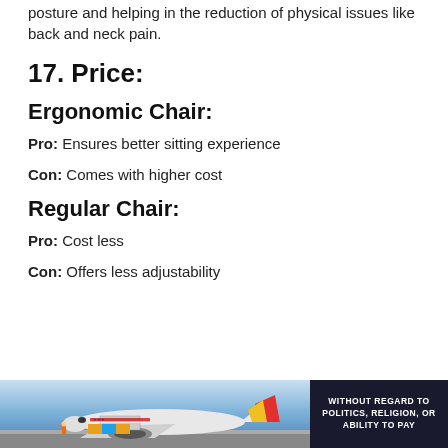posture and helping in the reduction of physical issues like back and neck pain.
17. Price:
Ergonomic Chair:
Pro: Ensures better sitting experience
Con: Comes with higher cost
Regular Chair:
Pro: Cost less
Con: Offers less adjustability
[Figure (photo): Advertisement banner showing an airplane being loaded with cargo, with a dark panel on the right reading 'WITHOUT REGARD TO POLITICS, RELIGION, OR ABILITY TO PAY']